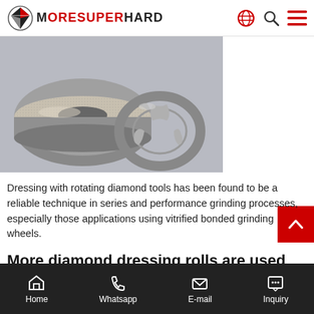MoreSuperHard
[Figure (photo): Two diamond dressing rolls/tools on a grey background — a large cylindrical grinding wheel with textured diamond surface on the left, and a smaller ring-shaped bearing cage component on the right.]
Dressing with rotating diamond tools has been found to be a reliable technique in series and performance grinding processes, especially those applications using vitrified bonded grinding wheels.
More diamond dressing rolls are used successfully in the following applications:
the manufacture of ball and roller bearings for grinding grooves...
Home  Whatsapp  E-mail  Inquiry